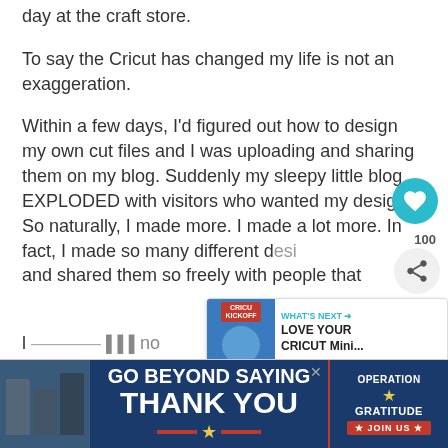day at the craft store.
To say the Cricut has changed my life is not an exaggeration.
Within a few days, I'd figured out how to design my own cut files and I was uploading and sharing them on my blog. Suddenly my sleepy little blog EXPLODED with visitors who wanted my designs. So naturally, I made more. I made a lot more. In fact, I made so many different designs and shared them so freely with people that
[Figure (screenshot): GO BEYOND SAYING THANK YOU - Operation Gratitude JOIN US advertisement banner at bottom of page]
[Figure (screenshot): Cricut Kickoff promotional overlay showing WHAT'S NEXT - LOVE YOUR CRICUT Mini...]